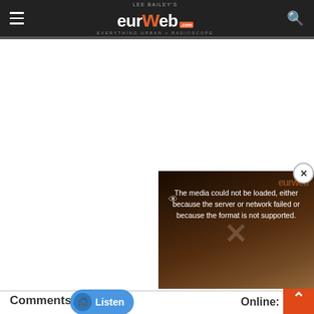[Figure (screenshot): EURweb (Lee Bailey's) website header with hamburger menu, logo, and search icon on dark background]
[Figure (screenshot): Video player popup showing error: 'The media could not be loaded, either because the server or network failed or because the format is not supported.' with close button]
Comments
[Figure (screenshot): Listen button with headphone icon]
Online: 1
[Figure (screenshot): Bell/notification icon]
[Figure (screenshot): Gray comment section area at bottom with orange back-to-top arrow button]